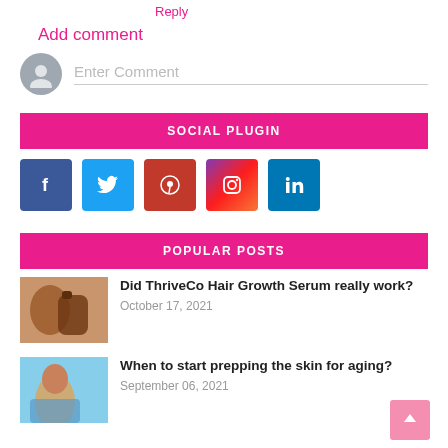Reply
Add comment
Enter Comment
SOCIAL PLUGIN
[Figure (other): Social media icon buttons: Facebook, Twitter, Pinterest, Instagram, LinkedIn]
POPULAR POSTS
[Figure (photo): Thumbnail image for ThriveCo Hair Growth Serum article]
Did ThriveCo Hair Growth Serum really work?
October 17, 2021
[Figure (photo): Thumbnail image for skin prepping article showing a smiling woman]
When to start prepping the skin for aging?
September 06, 2021